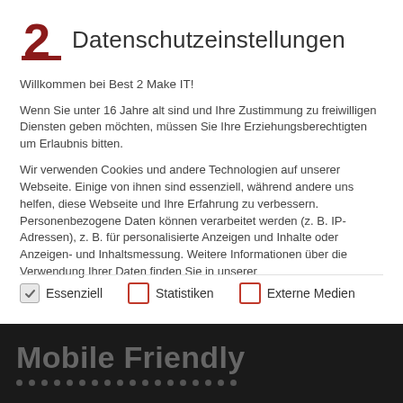2 Datenschutzeinstellungen
Willkommen bei Best 2 Make IT!
Wenn Sie unter 16 Jahre alt sind und Ihre Zustimmung zu freiwilligen Diensten geben möchten, müssen Sie Ihre Erziehungsberechtigten um Erlaubnis bitten.
Wir verwenden Cookies und andere Technologien auf unserer Webseite. Einige von ihnen sind essenziell, während andere uns helfen, diese Webseite und Ihre Erfahrung zu verbessern. Personenbezogene Daten können verarbeitet werden (z. B. IP-Adressen), z. B. für personalisierte Anzeigen und Inhalte oder Anzeigen- und Inhaltsmessung. Weitere Informationen über die Verwendung Ihrer Daten finden Sie in unserer
[Figure (infographic): Three checkboxes: Essenziell (checked, grey), Statistiken (unchecked, red border), Externe Medien (unchecked, red border)]
Mobile Friendly